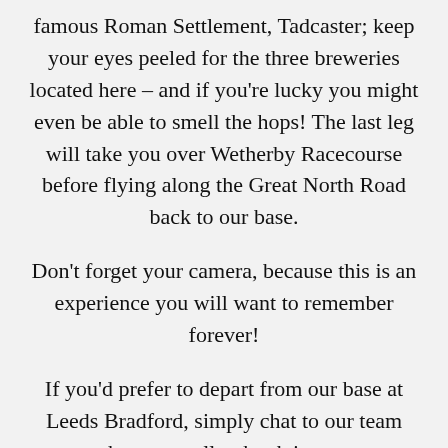famous Roman Settlement, Tadcaster; keep your eyes peeled for the three breweries located here – and if you're lucky you might even be able to smell the hops! The last leg will take you over Wetherby Racecourse before flying along the Great North Road back to our base.
Don't forget your camera, because this is an experience you will want to remember forever!
If you'd prefer to depart from our base at Leeds Bradford, simply chat to our team when you call to book in your